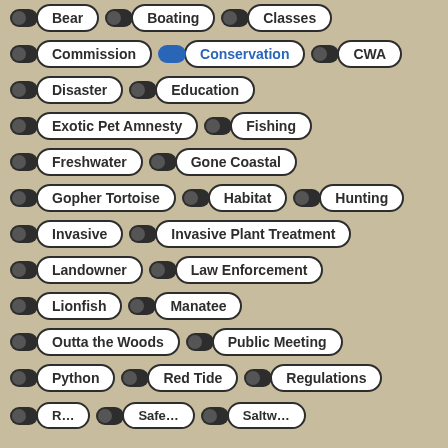Bear
Boating
Classes
Commission
Conservation
CWA
Disaster
Education
Exotic Pet Amnesty
Fishing
Freshwater
Gone Coastal
Gopher Tortoise
Habitat
Hunting
Invasive
Invasive Plant Treatment
Landowner
Law Enforcement
Lionfish
Manatee
Outta the Woods
Public Meeting
Python
Red Tide
Regulations